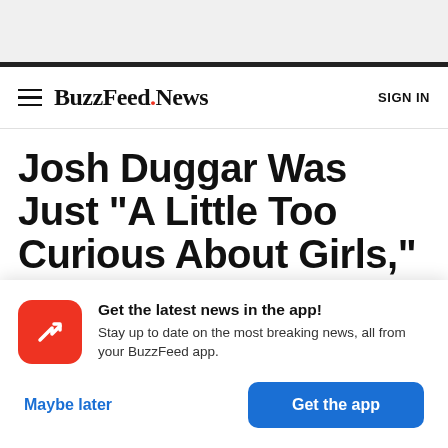BuzzFeed.News — SIGN IN
Josh Duggar Was Just "A Little Too Curious About Girls," Sisters Say
Get the latest news in the app! Stay up to date on the most breaking news, all from your BuzzFeed app.
Maybe later | Get the app